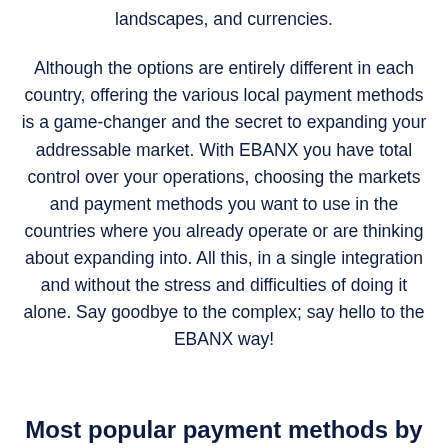landscapes, and currencies.
Although the options are entirely different in each country, offering the various local payment methods is a game-changer and the secret to expanding your addressable market. With EBANX you have total control over your operations, choosing the markets and payment methods you want to use in the countries where you already operate or are thinking about expanding into. All this, in a single integration and without the stress and difficulties of doing it alone. Say goodbye to the complex; say hello to the EBANX way!
Most popular payment methods by